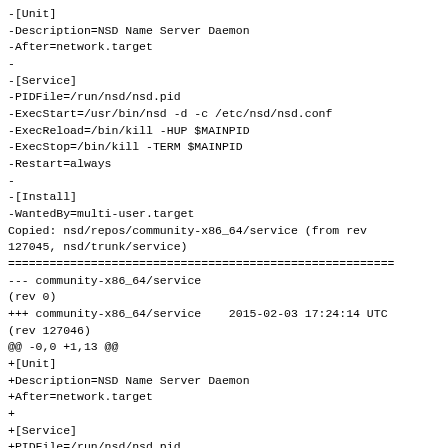-[Unit]
-Description=NSD Name Server Daemon
-After=network.target
-
-[Service]
-PIDFile=/run/nsd/nsd.pid
-ExecStart=/usr/bin/nsd -d -c /etc/nsd/nsd.conf
-ExecReload=/bin/kill -HUP $MAINPID
-ExecStop=/bin/kill -TERM $MAINPID
-Restart=always
-
-[Install]
-WantedBy=multi-user.target
Copied: nsd/repos/community-x86_64/service (from rev 127045, nsd/trunk/service)
=======================================================================
--- community-x86_64/service
(rev 0)
+++ community-x86_64/service    2015-02-03 17:24:14 UTC
(rev 127046)
@@ -0,0 +1,13 @@
+[Unit]
+Description=NSD Name Server Daemon
+After=network.target
+
+[Service]
+PIDFile=/run/nsd/nsd.pid
+ExecStart=/usr/bin/nsd -d -c /etc/nsd/nsd.conf
+ExecReload=/bin/kill -HUP $MAINPID
-ExecStop=/bin/kill -TERM $MAINPID